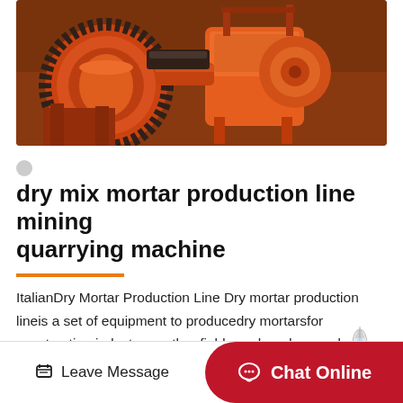[Figure (photo): Industrial orange mining/quarrying machine with large gears and mechanical components in a warehouse setting]
dry mix mortar production line mining quarrying machine
ItalianDry Mortar Production Line Dry mortar production lineis a set of equipment to producedry mortarsfor construction industry or other fields such asdry powder mortar, drypowder…
Leave Message  Chat Online